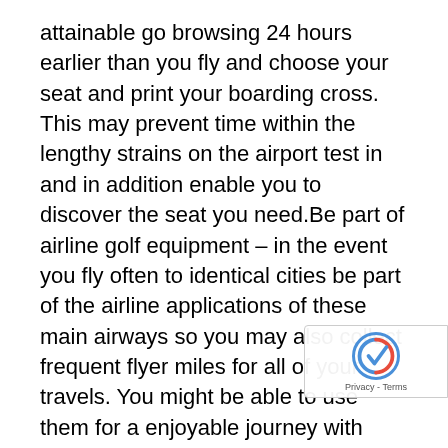attainable go browsing 24 hours earlier than you fly and choose your seat and print your boarding cross. This may prevent time within the lengthy strains on the airport test in and in addition enable you to discover the seat you need.Be part of airline golf equipment – in the event you fly often to identical cities be part of the airline applications of these main airways so you may also collect frequent flyer miles for all of your travels. You might be able to use them for a enjoyable journey with these you take care of in a while.Be part of airline lounges – in the event you fly with the identical provider repeatedly to spend money on a membership for that lounge so you've got a quiet place to snack, get modified or to make amends for studying. I seen in Australia this was a terrific use of cash and properly value it nonetheless within the US the gates and lounges are so unfold out and there are such a lot of choices to journey with totally different airways hasn't been a worthwhile funding for me right here, nonetheless in the event you fly the identical airline each